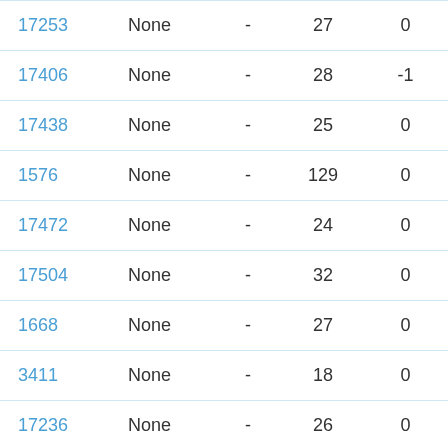| ID | Type | - | Num1 | Num2 | Status |
| --- | --- | --- | --- | --- | --- |
| 17253 | None | - | 27 | 0 | Manual |
| 17406 | None | - | 28 | -1 | Manual |
| 17438 | None | - | 25 | 0 | Manual |
| 1576 | None | - | 129 | 0 | Manual* |
| 17472 | None | - | 24 | 0 | Manual |
| 17504 | None | - | 32 | 0 | Manual |
| 1668 | None | - | 27 | 0 | Manual* |
| 3411 | None | - | 18 | 0 | Manual* |
| 17236 | None | - | 26 | 0 | Manual |